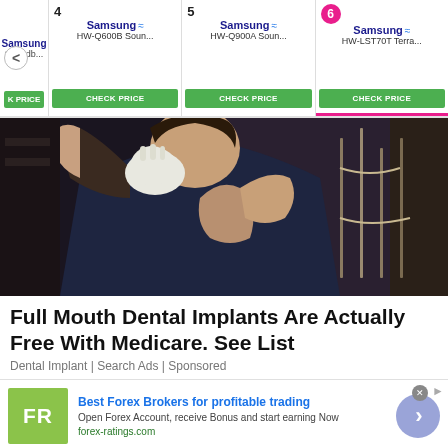[Figure (screenshot): Product carousel showing Samsung soundbar products with numbered items (4, 5, 6), CHECK PRICE buttons, and navigation arrow]
[Figure (photo): Dental professional in dark scrubs wearing white gloves, in a dental office setting]
Full Mouth Dental Implants Are Actually Free With Medicare. See List
Dental Implant | Search Ads | Sponsored
[Figure (infographic): Advertisement banner for Best Forex Brokers. FR logo in green, blue title text, body text and forex-ratings.com URL, purple arrow button]